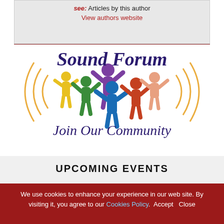see: Articles by this author
View authors website
[Figure (logo): Sound Forum logo with colorful paper-cutout figures holding hands in a circle, with sound wave arcs on both sides. Text reads 'Sound Forum' and 'Join Our Community' in dark purple/navy italic serif font.]
UPCOMING EVENTS
We use cookies to enhance your experience in our web site. By visiting it, you agree to our Cookies Policy.  Accept   Close